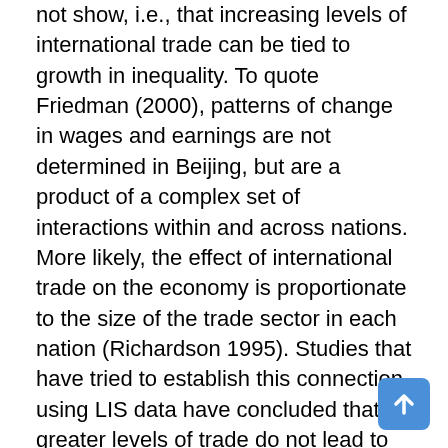not show, i.e., that increasing levels of international trade can be tied to growth in inequality. To quote Friedman (2000), patterns of change in wages and earnings are not determined in Beijing, but are a product of a complex set of interactions within and across nations. More likely, the effect of international trade on the economy is proportionate to the size of the trade sector in each nation (Richardson 1995). Studies that have tried to establish this connection using LIS data have concluded that greater levels of trade do not lead to increased poverty or inequality (e.g., Gustafsson and Johansson (1997); Osberg (2000); Osberg and Sharpe (2000)).
There is, however, evidence that both the changing supply and demand for labour of different skills can explain some of the changes in earned incomes across rich nations, and possibly among middle-income ones